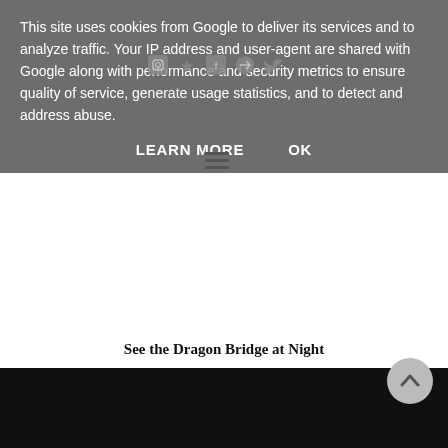This site uses cookies from Google to deliver its services and to analyze traffic. Your IP address and user-agent are shared with Google along with performance and security metrics to ensure quality of service, generate usage statistics, and to detect and address abuse.
LEARN MORE    OK
See the Dragon Bridge at Night
After finishing food we headed back home to join in with the promotional video for Memory Hostel. which was probably my favorite part of the trip. We joined the staff on the roof top and laughed all night while appreciating the best view of the Dragon Bridge from above.
[Figure (photo): Dark photograph, bottom portion of the page, primarily black/dark scene]